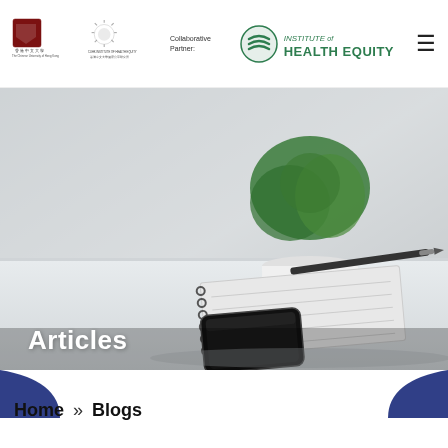The Chinese University of Hong Kong | CUHK Institute of Health Equity | Collaborative Partner | Institute of Health Equity
[Figure (photo): A desk scene with a spiral notebook, pen, smartphone, and a potted plant in a white pot on a light surface, used as a hero banner image for the Articles section.]
Articles
Home » Blogs